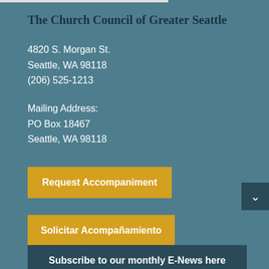The Church Council of Greater Seattle
4820 S. Morgan St.
Seattle, WA 98118
(206) 525-1213
Mailing Address:
PO Box 18467
Seattle, WA 98118
Request Accompaniment
Solicitar Acompañamiento
Subscribe to our monthly E-News here